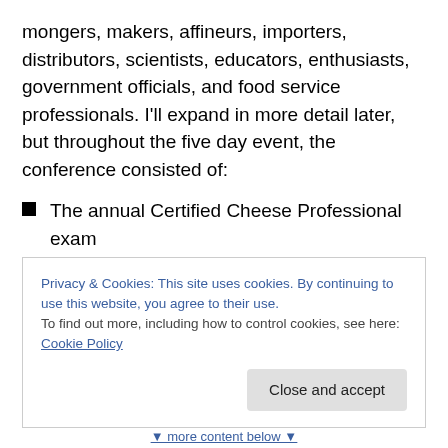mongers, makers, affineurs, importers, distributors, scientists, educators, enthusiasts, government officials, and food service professionals. I'll expand in more detail later, but throughout the five day event, the conference consisted of:
The annual Certified Cheese Professional exam
Several receptions
A pub crawl
A tradeshow area featuring manufacturers of bacteria, equipment, pasteurizers etc.
Privacy & Cookies: This site uses cookies. By continuing to use this website, you agree to their use. To find out more, including how to control cookies, see here: Cookie Policy
Close and accept